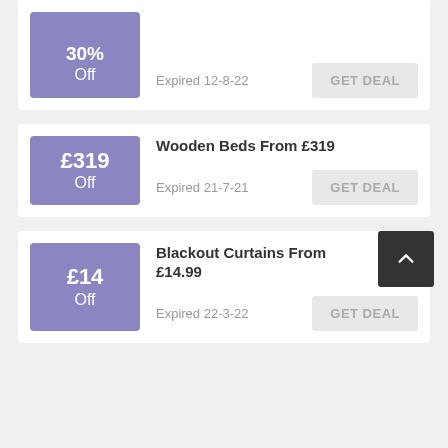[Figure (other): Deal card with purple badge showing 30% Off, expired 12-8-22, GET DEAL button]
[Figure (other): Deal card with purple badge showing £319 Off, title Wooden Beds From £319, expired 21-7-21, GET DEAL button]
[Figure (other): Deal card with purple badge showing £14 Off, title Blackout Curtains From £14.99, expired 22-3-22, GET DEAL button, back-to-top arrow button]